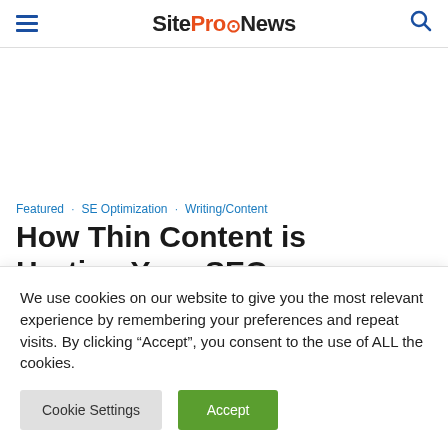SiteProNews
Featured · SE Optimization · Writing/Content
How Thin Content is Hurting Your SEO
We use cookies on our website to give you the most relevant experience by remembering your preferences and repeat visits. By clicking “Accept”, you consent to the use of ALL the cookies.